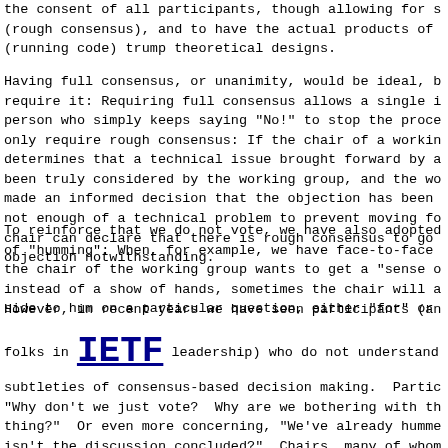the consent of all participants, though allowing for s (rough consensus), and to have the actual products of (running code) trump theoretical designs.
Having full consensus, or unanimity, would be ideal, b require it: Requiring full consensus allows a single i person who simply keeps saying "No!" to stop the proce only require rough consensus: If the chair of a workin determines that a technical issue brought forward by a been truly considered by the working group, and the wo made an informed decision that the objection has been not enough of a technical problem to prevent moving fo chair can declare that there is rough consensus to go objection notwithstanding.
To reinforce that we do not vote, we have also adopted of "humming": When, for example, we have face-to-face the chair of the working group wants to get a "sense o instead of a show of hands, sometimes the chair will a side to hum on a particular question, either "for" or
However, in recent years we have seen participants (an
folks in IETF leadership) who do not understand subtleties of consensus-based decision making. Partic "Why don't we just vote? Why are we bothering with th thing?" Or even more concerning, "We've already humme isn't the discussion concluded?" Chairs, many of whom experience in leading large volunteer groups like thos